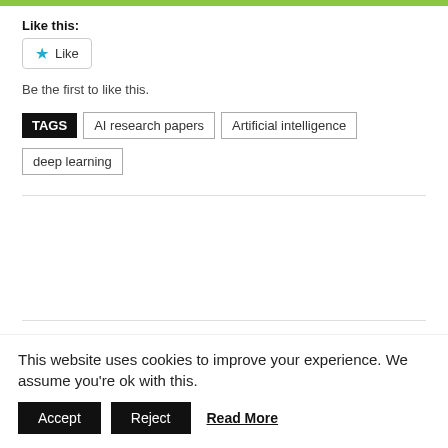Like this:
[Figure (other): Like button with star icon]
Be the first to like this.
TAGS  AI research papers  Artificial intelligence  deep learning
Previous article
Next article
This website uses cookies to improve your experience. We assume you're ok with this.
Accept
Reject
Read More